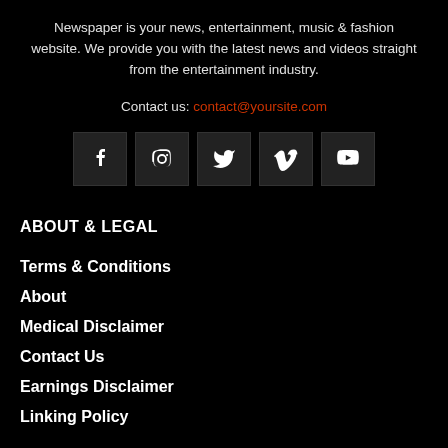Newspaper is your news, entertainment, music & fashion website. We provide you with the latest news and videos straight from the entertainment industry.
Contact us: contact@yoursite.com
[Figure (other): Row of 5 social media icon buttons: Facebook, Instagram, Twitter, Vimeo, YouTube]
ABOUT & LEGAL
Terms & Conditions
About
Medical Disclaimer
Contact Us
Earnings Disclaimer
Linking Policy